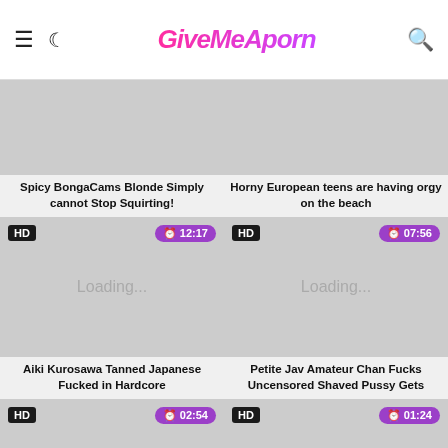GiveMeAPorn
[Figure (screenshot): Video thumbnail loading placeholder - top left]
Spicy BongaCams Blonde Simply cannot Stop Squirting!
[Figure (screenshot): Video thumbnail loading placeholder - top right]
Horny European teens are having orgy on the beach
[Figure (screenshot): HD video thumbnail, 12:17, loading placeholder - middle left]
Aiki Kurosawa Tanned Japanese Fucked in Hardcore
[Figure (screenshot): HD video thumbnail, 07:56, loading placeholder - middle right]
Petite Jav Amateur Chan Fucks Uncensored Shaved Pussy Gets
[Figure (screenshot): HD video thumbnail, 02:54, loading placeholder - bottom left]
MMD K/DA - the Baddest Nude
[Figure (screenshot): HD video thumbnail, 01:24, loading placeholder - bottom right]
Slaves get Golden Nectar